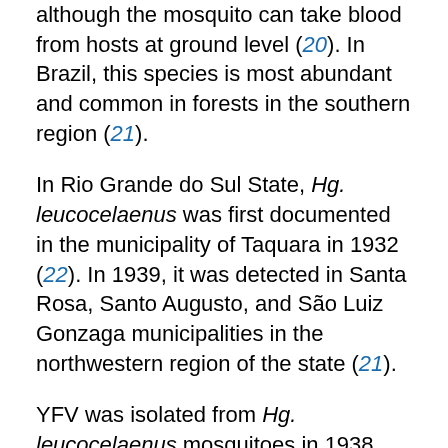although the mosquito can take blood from hosts at ground level (20). In Brazil, this species is most abundant and common in forests in the southern region (21).
In Rio Grande do Sul State, Hg. leucocelaenus was first documented in the municipality of Taquara in 1932 (22). In 1939, it was detected in Santa Rosa, Santo Augusto, and São Luiz Gonzaga municipalities in the northwestern region of the state (21).
YFV was isolated from Hg. leucocelaenus mosquitoes in 1938 from 16 specimens collected in Rio de Janeiro State (23) and in 1944 from a pool with 6 specimens from a forest close to Villavicencio, Colombia (21). Sixty years later, during an epizootic in rural areas in the northwestern region of Rio Grande do Sul State, 2 strains of YFV were isolated from 21 specimens of these mosquitoes in a pool with 6 insects captured in